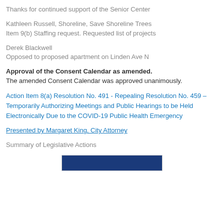Thanks for continued support of the Senior Center
Kathleen Russell, Shoreline, Save Shoreline Trees
Item 9(b) Staffing request. Requested list of projects
Derek Blackwell
Opposed to proposed apartment on Linden Ave N
Approval of the Consent Calendar as amended.
The amended Consent Calendar was approved unanimously.
Action Item 8(a) Resolution No. 491 - Repealing Resolution No. 459 – Temporarily Authorizing Meetings and Public Hearings to be Held Electronically Due to the COVID-19 Public Health Emergency
Presented by Margaret King, City Attorney
Summary of Legislative Actions
[Figure (other): Blue header bar image at the bottom of the page]